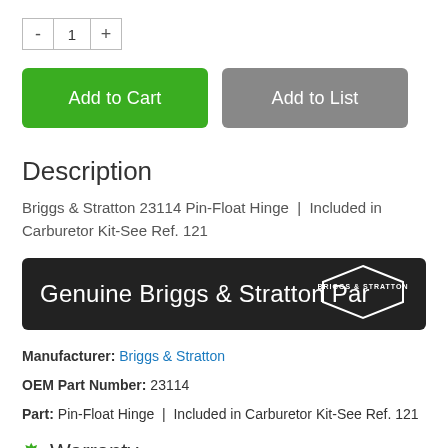[Figure (other): Quantity selector with minus button, value 1, and plus button]
[Figure (other): Two buttons: green Add to Cart button and gray Add to List button]
Description
Briggs & Stratton 23114 Pin-Float Hinge | Included in Carburetor Kit-See Ref. 121
[Figure (other): Dark banner with text 'Genuine Briggs & Stratton Part' and Briggs & Stratton diamond logo on the right]
Manufacturer: Briggs & Stratton
OEM Part Number: 23114
Part: Pin-Float Hinge | Included in Carburetor Kit-See Ref. 121
Warranty
This OEM part is guaranteed by Briggs & Stratton's limited